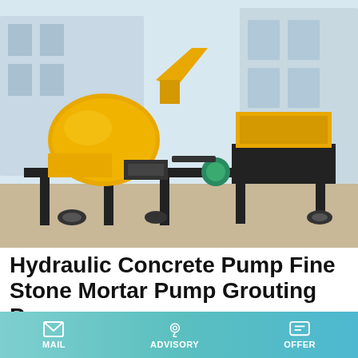[Figure (photo): Yellow hydraulic concrete pump and fine stone mortar pump / grouting pump machinery on a construction site, with black metal frame, large yellow drum mixer on the left and a separate pump unit on the right, parked on a paved surface with buildings in the background.]
Hydraulic Concrete Pump Fine Stone Mortar Pump Grouting Pump
Pressure Grouting Pump - leadcrete.com. Pressure Grouting Pump is an horizontal hydraulic pump used for pumping fluid mixtures such as cement slurry or bentonite slurry ect. For injecting in the sub-soil for soil consolidation piling or even for
MAIL   ADVISORY   OFFER